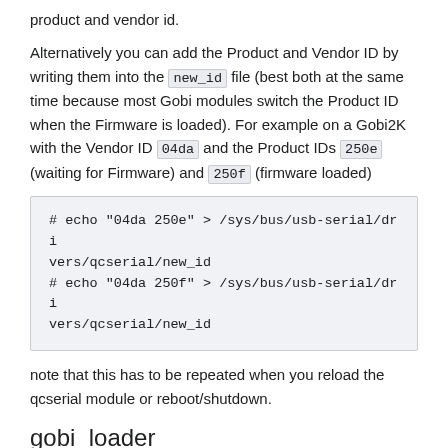product and vendor id.
Alternatively you can add the Product and Vendor ID by writing them into the new_id file (best both at the same time because most Gobi modules switch the Product ID when the Firmware is loaded). For example on a Gobi2K with the Vendor ID 04da and the Product IDs 250e (waiting for Firmware) and 250f (firmware loaded)
note that this has to be repeated when you reload the qcserial module or reboot/shutdown.
gobi_loader
From the developer GitHub page:
gobi_loader is a firmware loader for Qualcomm Gobi USB